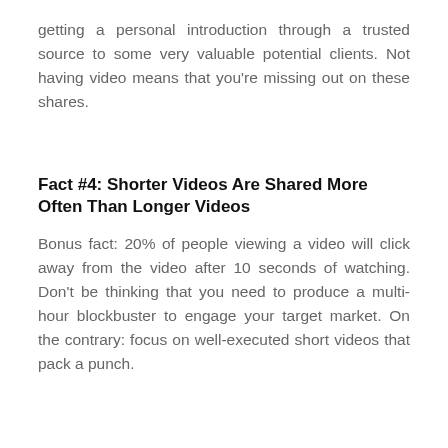getting a personal introduction through a trusted source to some very valuable potential clients. Not having video means that you're missing out on these shares.
Fact #4: Shorter Videos Are Shared More Often Than Longer Videos
Bonus fact: 20% of people viewing a video will click away from the video after 10 seconds of watching. Don't be thinking that you need to produce a multi-hour blockbuster to engage your target market. On the contrary: focus on well-executed short videos that pack a punch.